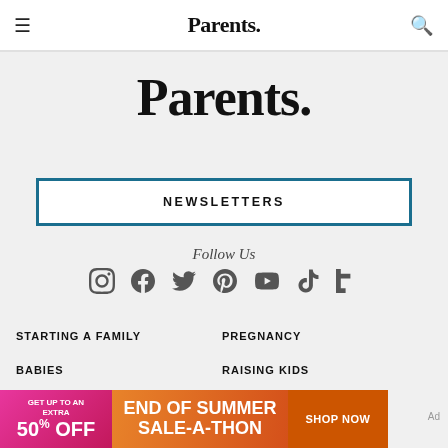≡  Parents.  🔍
Parents.
NEWSLETTERS
Follow Us
[Figure (infographic): Social media icons row: Instagram, Facebook, Twitter, Pinterest, YouTube, TikTok, Flipboard]
STARTING A FAMILY
PREGNANCY
BABIES
RAISING KIDS
[Figure (infographic): Advertisement banner: GET UP TO AN EXTRA 50% OFF | END OF SUMMER SALE-A-THON | SHOP NOW]